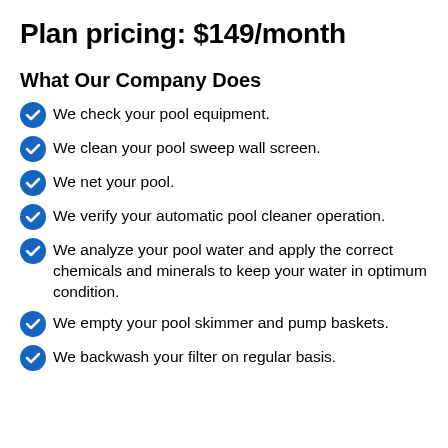Plan pricing: $149/month
What Our Company Does
We check your pool equipment.
We clean your pool sweep wall screen.
We net your pool.
We verify your automatic pool cleaner operation.
We analyze your pool water and apply the correct chemicals and minerals to keep your water in optimum condition.
We empty your pool skimmer and pump baskets.
We backwash your filter on regular basis.